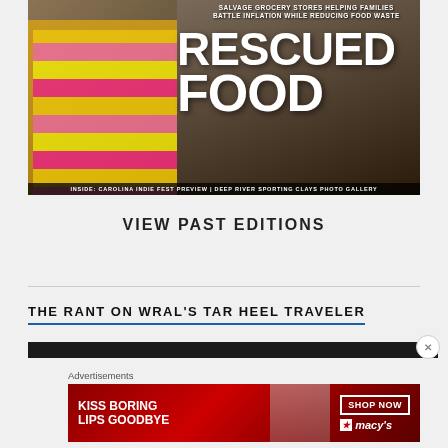[Figure (photo): Magazine cover showing salvage grocery store with shrimp packages stacked on shelves. Large white bold text reads 'RESCUED FOOD'. Top text reads 'SALVAGE GROCERY STORES HELPING FAMILIES BATTLE INFLATION WHILE REDUCING FOOD WASTE'. Bottom caption bar reads 'INSIDE: CAROLINA INDIE FEST PREVIEW | DEEP RIVER SPORTING CLAYS PHOTO GALLERY'.]
VIEW PAST EDITIONS
THE RANT ON WRAL'S TAR HEEL TRAVELER
Advertisements
[Figure (photo): Macy's advertisement banner with red background showing woman's face and lips. Text reads 'KISS BORING LIPS GOODBYE' on the left and 'SHOP NOW' button with Macy's star logo on the right.]